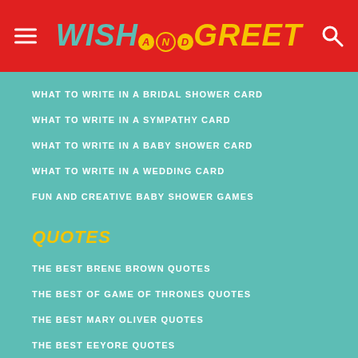WISH AND GREET
WHAT TO WRITE IN A BRIDAL SHOWER CARD
WHAT TO WRITE IN A SYMPATHY CARD
WHAT TO WRITE IN A BABY SHOWER CARD
WHAT TO WRITE IN A WEDDING CARD
FUN AND CREATIVE BABY SHOWER GAMES
QUOTES
THE BEST BRENE BROWN QUOTES
THE BEST OF GAME OF THRONES QUOTES
THE BEST MARY OLIVER QUOTES
THE BEST EEYORE QUOTES
THE BEST STAN LEE QUOTES